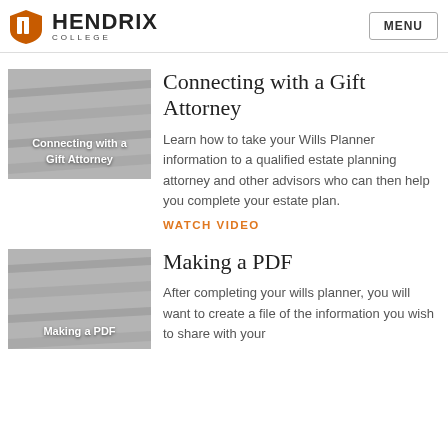HENDRIX COLLEGE | MENU
Connecting with a Gift Attorney
Learn how to take your Wills Planner information to a qualified estate planning attorney and other advisors who can then help you complete your estate plan.
WATCH VIDEO
[Figure (screenshot): Thumbnail image for 'Connecting with a Gift Attorney' video]
Making a PDF
After completing your wills planner, you will want to create a file of the information you wish to share with your
[Figure (screenshot): Thumbnail image for 'Making a PDF' video]